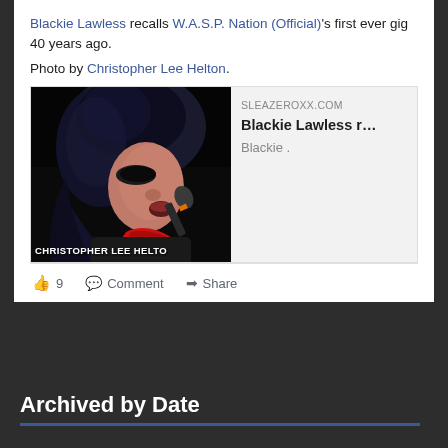Blackie Lawless recalls W.A.S.P. Nation (Official)'s first ever gig 40 years ago.
Photo by Christopher Lee Helton.
[Figure (photo): Concert photo of Blackie Lawless singing into a microphone, with long dark hair, heavy eye makeup, and a red scarf. Watermark text reads CHRISTOPHER LEE HELTO. Alongside is a link preview panel showing SLEAZEROXX.COM, title 'Blackie Lawless r...', description 'Blackie .']
9   Comment   Share
Archived by Date